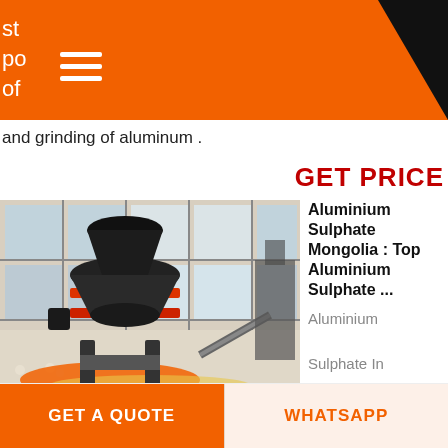st
po
of
and grinding of aluminum .
GET PRICE
[Figure (photo): Industrial cone crusher machine in a factory/warehouse setting with large windows]
Aluminium Sulphate Mongolia : Top Aluminium Sulphate ... Aluminium Sulphate In Mongolia. If you are
looking for verified Aluminium Sulphate suppliers in Mongolia, then Getatoz is your onestop solution. Browse Aluminium
GET A QUOTE
WHATSAPP